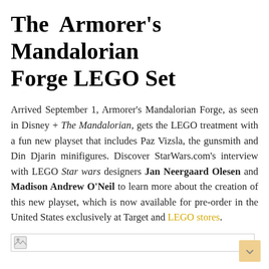The Armorer's Mandalorian Forge LEGO Set
Arrived September 1, Armorer's Mandalorian Forge, as seen in Disney + The Mandalorian, gets the LEGO treatment with a fun new playset that includes Paz Vizsla, the gunsmith and Din Djarin minifigures. Discover StarWars.com's interview with LEGO Star wars designers Jan Neergaard Olesen and Madison Andrew O'Neil to learn more about the creation of this new playset, which is now available for pre-order in the United States exclusively at Target and LEGO stores.
[Figure (photo): Image placeholder for LEGO set photo]